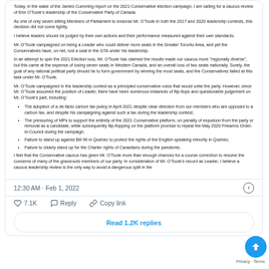Today, in the wake of the James Cumming report on the 2021 Conservative election campaign, I am calling for a caucus review of Erin O'Toole's leadership of the Conservative Party of Canada.
As one of only seven sitting Members of Parliament to endorse Mr. O'Toole in both the 2017 and 2020 leadership contests, this decision did not come lightly.
I believe leaders should be judged by their own actions and their performance measured against their own standards.
Mr. O'Toole campaigned on being a Leader who could deliver more seats in the Greater Toronto Area, and yet the Conservatives have, on net, lost a seat in the GTA under his leadership.
In an attempt to spin the 2021 Election loss, Mr. O'Toole has claimed the results made our caucus more "regionally diverse", but this came at the expense of losing seven seats in Western Canada, and an overall loss of two seats nationally. Surely, the goal of any rational political party should be to form government by winning the most seats, and the Conservatives failed at this task under Mr. O'Toole.
Mr. O'Toole campaigned in the leadership contest as a principled conservative voice that would unite the party. However, since Mr. O'Toole assumed the position of Leader, there have been numerous instances of flip-flops and questionable judgement on Mr. O'Toole's part, including:
The adoption of a de-facto carbon tax policy in April 2021 despite clear direction from our members who are opposed to a carbon tax, and despite his campaigning against such a tax during the leadership contest;
The pressuring of MPs to support the entirety of the 2021 Conservative platform, on penalty of expulsion from the party or removal as a candidate, while subsequently flip-flopping on the platform promise to repeal the May 2020 Firearms Order-in-Council during the campaign;
Failure to stand up against Bill 96 in Quebec to protect the rights of the English-speaking minority in Quebec;
Failure to clearly stand up for the Charter rights of Canadians during the pandemic.
I feel that the Conservative caucus has given Mr. O'Toole more than enough chances for a course correction to resolve the concerns of many of the grassroots members of our party. In consideration of Mr. O'Toole's record as Leader, I believe a caucus leadership review is the only way to avoid a dangerous split in the
12:30 AM · Feb 1, 2022
7.1K
Reply
Copy link
Read 1.2K replies